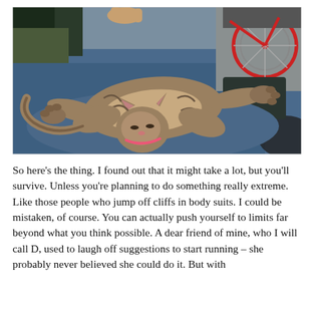[Figure (photo): A tabby cat lying on its back on a blue surface (appears to be a lap or seat on public transit), stretched out with legs spread, looking relaxed. In the background there is a red folding bicycle and a person's arm visible. The cat has a pink collar.]
So here's the thing. I found out that it might take a lot, but you'll survive. Unless you're planning to do something really extreme. Like those people who jump off cliffs in body suits. I could be mistaken, of course. You can actually push yourself to limits far beyond what you think possible. A dear friend of mine, who I will call D, used to laugh off suggestions to start running – she probably never believed she could do it. But with